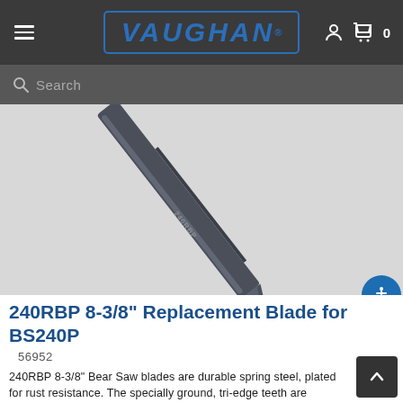VAUGHAN (logo) — navigation header with menu icon and cart
[Figure (screenshot): Product image of 240RBP 8-3/8 inch replacement blade for BS240P saw, showing a dark metallic blade on a light grey background]
240RBP 8-3/8" Replacement Blade for BS240P
56952
240RBP 8-3/8" Bear Saw blades are durable spring steel, plated for rust resistance. The specially ground, tri-edge teeth are impulse hardened to retain their sharpness. MADE IN JAPAN
$10.99